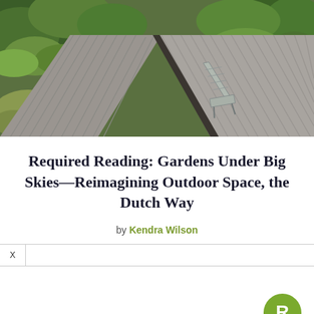[Figure (photo): Aerial view of a modern garden with gray wooden decking arranged in geometric angles, surrounded by lush green plants including hostas and ornamental grasses, with a metal lounge chair on the deck.]
Required Reading: Gardens Under Big Skies—Reimagining Outdoor Space, the Dutch Way
by Kendra Wilson